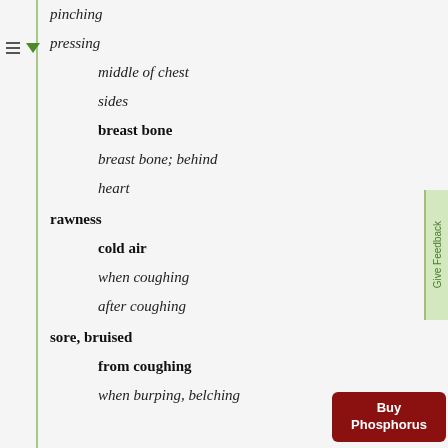pinching
pressing
middle of chest
sides
breast bone
breast bone; behind
heart
rawness
cold air
when coughing
after coughing
sore, bruised
from coughing
when burping, belching